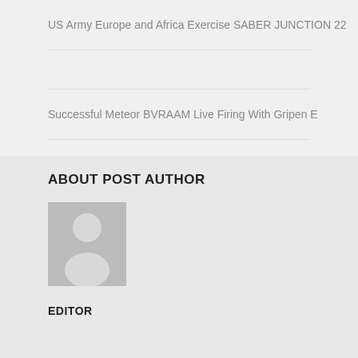US Army Europe and Africa Exercise SABER JUNCTION 22
Successful Meteor BVRAAM Live Firing With Gripen E
ABOUT POST AUTHOR
[Figure (illustration): Generic user/author avatar placeholder image showing a silhouette of a person]
EDITOR